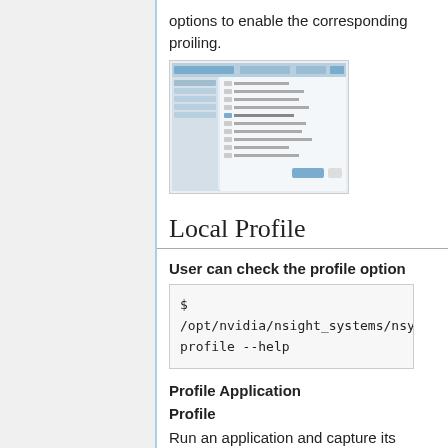options to enable the corresponding proiling.
[Figure (screenshot): Screenshot of a settings or profile options dialog window with checkboxes and configuration options.]
Local Profile
User can check the profile option
Profile Application
Profile
Run an application and capture its profile into a QDSTRM file, and view it in Nsys